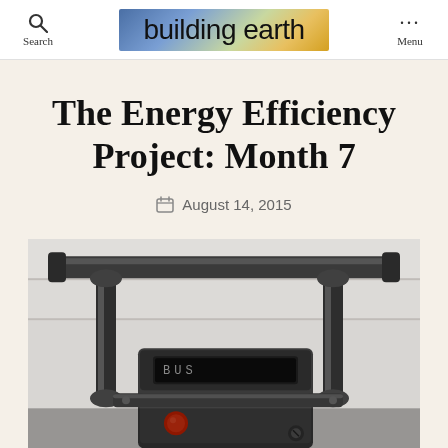Search | building earth | Menu
The Energy Efficiency Project: Month 7
August 14, 2015
[Figure (photo): Close-up photograph of a gas meter with pipes and valves, mounted on a white wall. Shows metal fittings, a red valve, and meter display.]